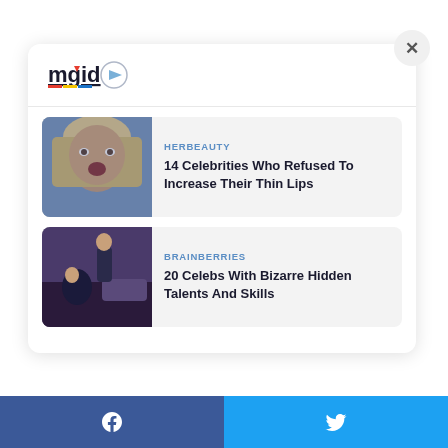[Figure (logo): MGID logo with colorful underline and play icon]
[Figure (photo): Blonde woman with surprised expression]
HERBEAUTY
14 Celebrities Who Refused To Increase Their Thin Lips
[Figure (photo): TV show scene with host and guest doing a trick]
BRAINBERRIES
20 Celebs With Bizarre Hidden Talents And Skills
[Figure (infographic): Facebook icon on blue bar and Twitter icon on blue bar at bottom]